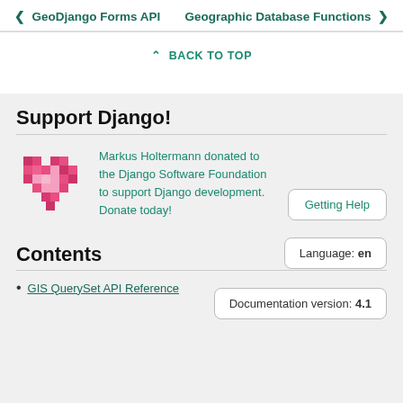❮  GeoDjango Forms API    Geographic Database Functions  ❯
⌃ BACK TO TOP
Support Django!
[Figure (illustration): Pixel art pink/red heart logo]
Markus Holtermann donated to the Django Software Foundation to support Django development. Donate today!
Getting Help
Language: en
Documentation version: 4.1
Contents
GIS QuerySet API Reference